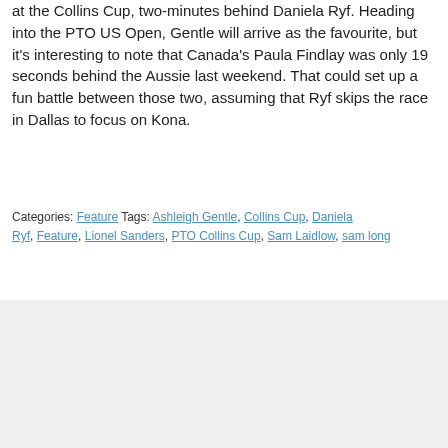at the Collins Cup, two-minutes behind Daniela Ryf. Heading into the PTO US Open, Gentle will arrive as the favourite, but it's interesting to note that Canada's Paula Findlay was only 19 seconds behind the Aussie last weekend. That could set up a fun battle between those two, assuming that Ryf skips the race in Dallas to focus on Kona.
Categories: Feature Tags: Ashleigh Gentle, Collins Cup, Daniela Ryf, Feature, Lionel Sanders, PTO Collins Cup, Sam Laidlow, sam long